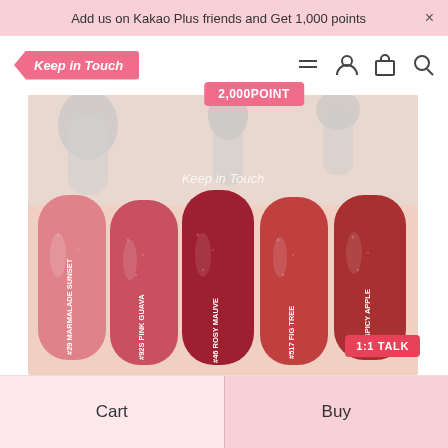Add us on Kakao Plus friends and Get 1,000 points  ×
[Figure (logo): Keep in Touch brand logo — pink ribbon/tag shape with italic white text]
2,000POINT
[Figure (photo): Cosmetic lipstick/lip product swatches on skin showing 5 shades: #29 MARMALADE SUNSET (coral pink), #92S PINK GUAVA (medium pink-red), #46 ROSY MAUVE (deep rose), #517 FIG TREE (warm red), #546 SPICY APPLE (deep red). Silver lipstick tubes visible at top. Keep in Touch watermark in center. 1:1 TALK badge at bottom right.]
1:1 TALK
Cart
Buy